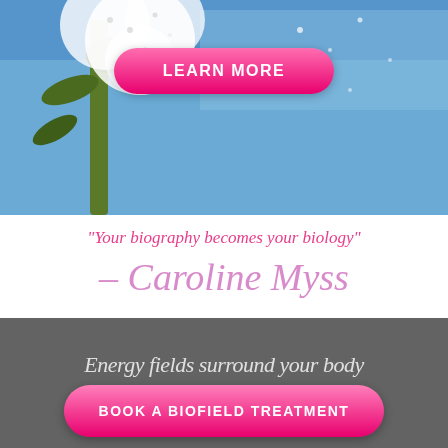[Figure (photo): Close-up photograph of a dandelion seed head against a blue sky background, with white fluffy seeds visible]
LEARN MORE
“Your biography becomes your biology” – Caroline Myss
Energy fields surround your body
BOOK A BIOFIELD TREATMENT